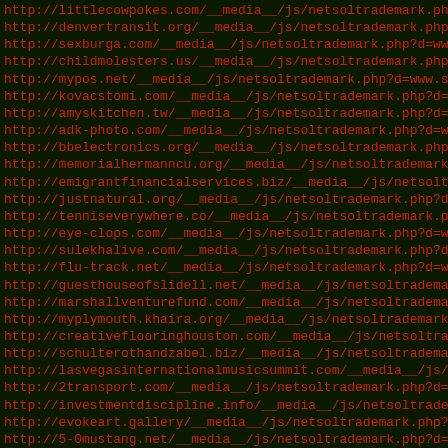http://littlecowpokes.com/__media__/js/netsoltrademark.php?d=
http://denvertransit.org/__media__/js/netsoltrademark.php?d=
http://sexburga.com/__media__/js/netsoltrademark.php?d=www.
http://childmolesters.us/__media__/js/netsoltrademark.php?d=
http://mypos.net/__media__/js/netsoltrademark.php?d=www.sob
http://kovacstomi.com/__media__/js/netsoltrademark.php?d=ww
http://amyskitchen.tw/__media__/js/netsoltrademark.php?d=ww
http://adk-photo.com/__media__/js/netsoltrademark.php?d=www
http://bbelectronics.org/__media__/js/netsoltrademark.php?d=
http://memorialhermanncu.org/__media__/js/netsoltrademark.p
http://emigrantfinancialservices.biz/__media__/js/netsoltra
http://justnatural.org/__media__/js/netsoltrademark.php?d=w
http://tenniseverywhere.co/__media__/js/netsoltrademark.php
http://eye-clops.com/__media__/js/netsoltrademark.php?d=www
http://sulekhalive.com/__media__/js/netsoltrademark.php?d=w
http://flu-track.net/__media__/js/netsoltrademark.php?d=www
http://guesthouseofslidell.net/__media__/js/netsoltrademark
http://marshallventurefund.com/__media__/js/netsoltrademark
http://myplymouth.khaira.org/__media__/js/netsoltrademark.p
http://creativeflooringhouston.com/__media__/js/netsoltraded
http://schulterothandzabel.biz/__media__/js/netsoltrademark
http://lasvegasinternationalmusicsummit.com/__media__/js/ne
http://2transport.com/__media__/js/netsoltrademark.php?d=ww
http://investmentdiscipline.info/__media__/js/netsoltradema
http://evokeart.gallery/__media__/js/netsoltrademark.php?d=
http://5-0mustang.net/__media__/js/netsoltrademark.php?d=ww
http://mrsfieldscookies.net/__media__/js/netsoltrademark.ph
http://aloha.oxmail.com/__media__/js/netsoltrademark.php?d=
http://tesconnect.us/__media__/js/netsoltrademark.php?d=www
http://americanpatientassociation.org/__media__/js/netsoltr